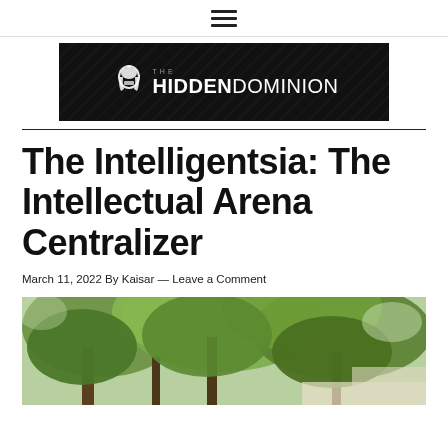≡
[Figure (logo): The Hidden Dominion logo — dark banner with spartan helmet icon and text 'THE HIDDENDOMINION']
The Intelligentsia: The Intellectual Arena Centralizer
March 11, 2022 By Kaisar — Leave a Comment
[Figure (photo): Photo looking up at green leafy trees with bright sky, and a corner of a white classical building visible at lower right]